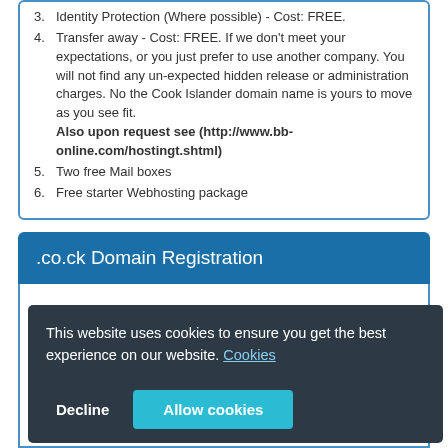3. Identity Protection (Where possible) - Cost: FREE.
4. Transfer away - Cost: FREE. If we don't meet your expectations, or you just prefer to use another company. You will not find any un-expected hidden release or administration charges. No the Cook Islander domain name is yours to move as you see fit. Also upon request see (http://www.bb-online.com/hostingt.shtml)
5. Two free Mail boxes
6. Free starter Webhosting package
.co.ck Domain Registration
[Figure (screenshot): Cookie consent banner overlay with dark background reading 'This website uses cookies to ensure you get the best experience on our website. Cookies' with Decline and Allow cookies buttons]
$264.00 for 1 year.